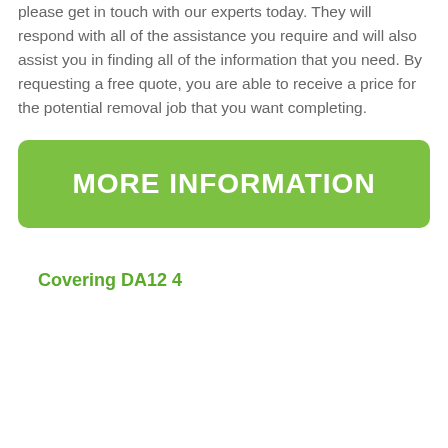please get in touch with our experts today. They will respond with all of the assistance you require and will also assist you in finding all of the information that you need. By requesting a free quote, you are able to receive a price for the potential removal job that you want completing.
[Figure (other): Green rounded rectangle button with white bold uppercase text reading MORE INFORMATION]
Covering DA12 4